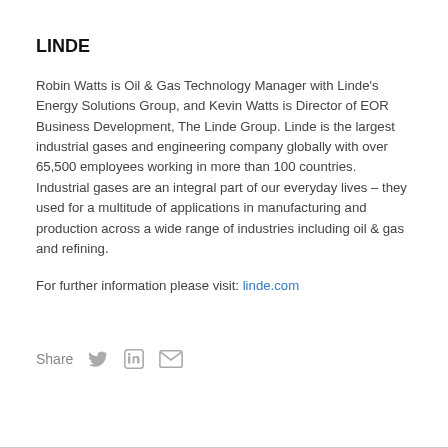LINDE
Robin Watts is Oil & Gas Technology Manager with Linde's Energy Solutions Group, and Kevin Watts is Director of EOR Business Development, The Linde Group. Linde is the largest industrial gases and engineering company globally with over 65,500 employees working in more than 100 countries. Industrial gases are an integral part of our everyday lives – they used for a multitude of applications in manufacturing and production across a wide range of industries including oil & gas and refining.
For further information please visit: linde.com
Share